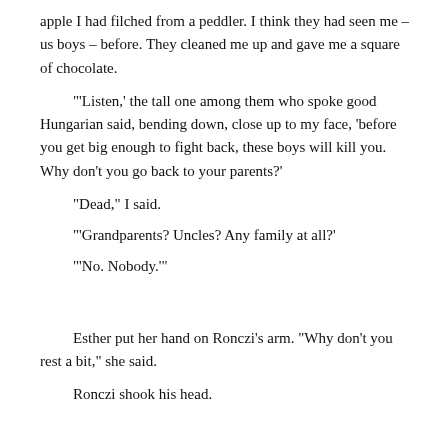apple I had filched from a peddler. I think they had seen me – us boys – before. They cleaned me up and gave me a square of chocolate.
"'Listen,' the tall one among them who spoke good Hungarian said, bending down, close up to my face, 'before you get big enough to fight back, these boys will kill you. Why don't you go back to your parents?'
"Dead," I said.
"'Grandparents? Uncles? Any family at all?'
"'No. Nobody.'"
Esther put her hand on Ronczi's arm. "Why don't you rest a bit," she said.
Ronczi shook his head.